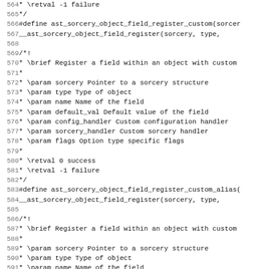564  * \retval -1 failure
565  */
566 #define ast_sorcery_object_field_register_custom(sorcer
567        __ast_sorcery_object_field_register(sorcery, type,
568
569 /*!
570  * \brief Register a field within an object with custom
571  *
572  * \param sorcery Pointer to a sorcery structure
573  * \param type Type of object
574  * \param name Name of the field
575  * \param default_val Default value of the field
576  * \param config_handler Custom configuration handler
577  * \param sorcery_handler Custom sorcery handler
578  * \param flags Option type specific flags
579  *
580  * \retval 0 success
581  * \retval -1 failure
582  */
583 #define ast_sorcery_object_field_register_custom_alias(
584        __ast_sorcery_object_field_register(sorcery, type,
585
586 /*!
587  * \brief Register a field within an object with custom
588  *
589  * \param sorcery Pointer to a sorcery structure
590  * \param type Type of object
591  * \param name Name of the field
592  * \param default_val Default value of the field
593  * \param config_handler Custom configuration handler
594  * \param sorcery_handler Custom sorcery handler
595  * \param multiple_handler Custom multiple handler